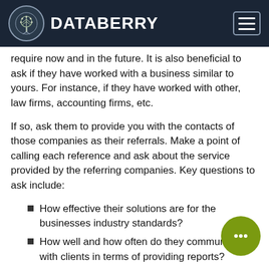DATABERRY
require now and in the future. It is also beneficial to ask if they have worked with a business similar to yours. For instance, if they have worked with other, law firms, accounting firms, etc.
If so, ask them to provide you with the contacts of those companies as their referrals. Make a point of calling each reference and ask about the service provided by the referring companies. Key questions to ask include:
How effective their solutions are for the businesses industry standards?
How well and how often do they communicate with clients in terms of providing reports?